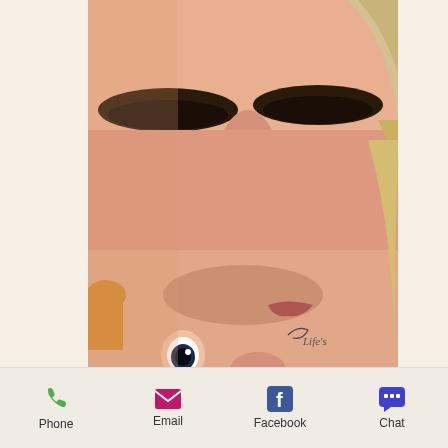[Figure (photo): Close-up photo of a mother and baby face-to-face, mother kissing or nuzzling the baby, both faces filling the frame, baby looking up with wide eyes, mother with blonde hair and long eyelashes. A watermark reading 'Life's' is partially visible in the lower right.]
Phone   Email   Facebook   Chat